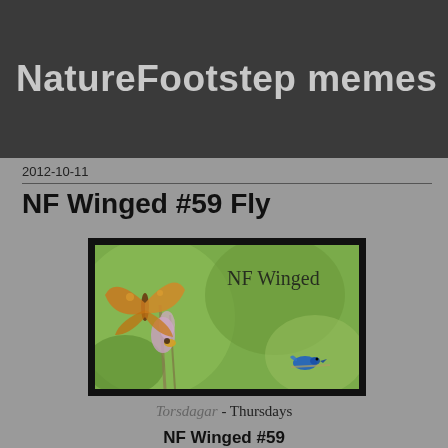NatureFootstep memes
2012-10-11
NF Winged #59 Fly
[Figure (photo): NF Winged banner image showing a butterfly and a blue bird on plants with green bokeh background, with text 'NF Winged' overlaid]
Torsdagar - Thursdays
NF Winged #59
Memet för allting med vingar. - Everything with wings. Välkommen till NF Winged. Sommaren var kort. Eller hur?